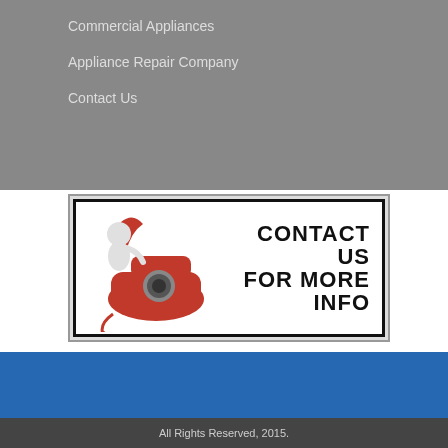Commercial Appliances
Appliance Repair Company
Contact Us
[Figure (illustration): Banner image with a 3D figure leaning on a red vintage telephone on the left, and bold text reading CONTACT US FOR MORE INFO on the right, on a white background with a thick black border.]
All Rights Reserved, 2015.